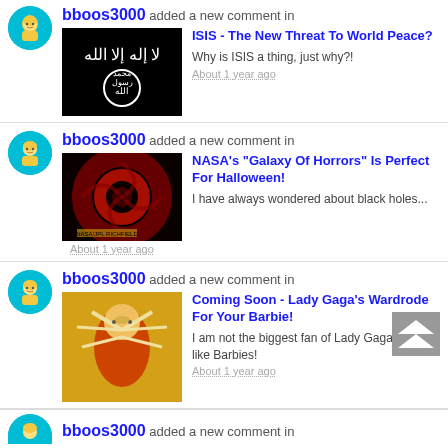bboos3000 added a new comment in ISIS - The New Threat To World Peace? Why is ISIS a thing, just why?! About 1 year ago
[Figure (screenshot): ISIS flag - black background with Arabic text]
bboos3000 added a new comment in NASA's "Galaxy Of Horrors" Is Perfect For Halloween! I have always wondered about black holes... About 1 year ago
[Figure (screenshot): Dark spiral galaxy image - NASA Galaxy of Horrors]
bboos3000 added a new comment in Coming Soon - Lady Gaga's Wardrode For Your Barbie! I am not the biggest fan of Lady Gaga, but I do like Barbies! About 1 year ago
[Figure (photo): Lady Gaga Barbie doll with feathered headdress in red]